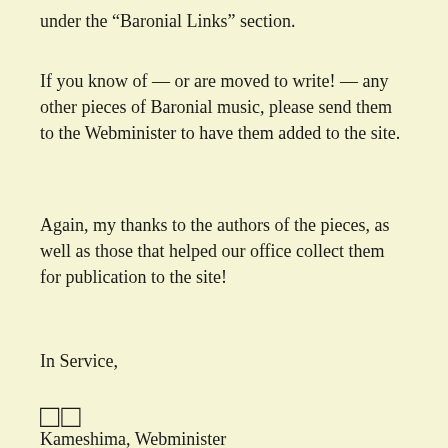under the “Baronial Links” section.
If you know of — or are moved to write! — any other pieces of Baronial music, please send them to the Webminister to have them added to the site.
Again, my thanks to the authors of the pieces, as well as those that helped our office collect them for publication to the site!
In Service,
□□
Kameshima, Webminister